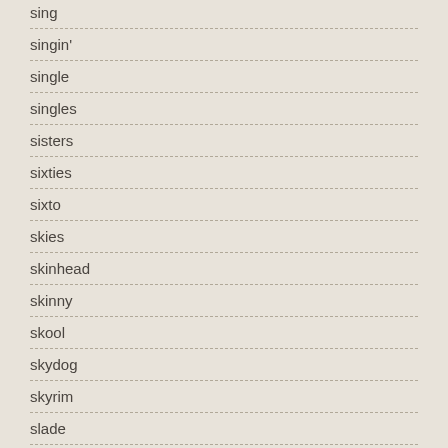sing
singin'
single
singles
sisters
sixties
sixto
skies
skinhead
skinny
skool
skydog
skyrim
slade
slayer
slipknot